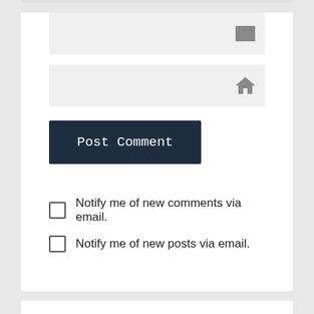[Figure (screenshot): Email input field with envelope icon]
[Figure (screenshot): Website URL input field with home/house icon]
Post Comment
Notify me of new comments via email.
Notify me of new posts via email.
FOLLOW BLOG VIA EMAIL
Enter your email address to follow this blog and receive notifications of new posts by email.